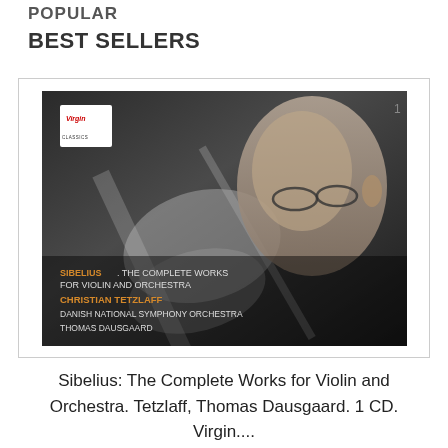POPULAR
BEST SELLERS
[Figure (photo): Album cover for Sibelius: The Complete Works for Violin and Orchestra by Christian Tetzlaff, Danish National Symphony Orchestra, Thomas Dausgaard. Virgin Classics. Shows a close-up black-and-white photo of a violinist wearing glasses playing a violin. Text on cover reads: SIBELIUS THE COMPLETE WORKS FOR VIOLIN AND ORCHESTRA, CHRISTIAN TETZLAFF, DANISH NATIONAL SYMPHONY ORCHESTRA, THOMAS DAUSGAARD.]
Sibelius: The Complete Works for Violin and Orchestra. Tetzlaff, Thomas Dausgaard. 1 CD. Virgin....